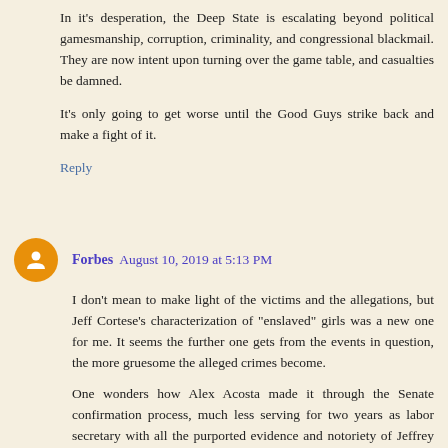In it's desperation, the Deep State is escalating beyond political gamesmanship, corruption, criminality, and congressional blackmail. They are now intent upon turning over the game table, and casualties be damned.
It's only going to get worse until the Good Guys strike back and make a fight of it.
Reply
Forbes  August 10, 2019 at 5:13 PM
I don't mean to make light of the victims and the allegations, but Jeff Cortese's characterization of "enslaved" girls was a new one for me. It seems the further one gets from the events in question, the more gruesome the alleged crimes become.
One wonders how Alex Acosta made it through the Senate confirmation process, much less serving for two years as labor secretary with all the purported evidence and notoriety of Jeffrey Epstein's supposed criminal conduct. Puzzling.